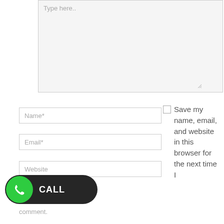[Figure (screenshot): Textarea input field with placeholder text 'Type here..']
Name*
Email*
Website
Save my name, email, and website in this browser for the next time I
[Figure (other): CALL button with green phone icon circle on black pill-shaped background]
comment.